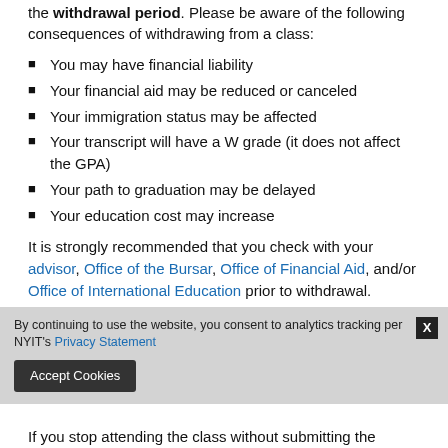the withdrawal period. Please be aware of the following consequences of withdrawing from a class:
You may have financial liability
Your financial aid may be reduced or canceled
Your immigration status may be affected
Your transcript will have a W grade (it does not affect the GPA)
Your path to graduation may be delayed
Your education cost may increase
It is strongly recommended that you check with your advisor, Office of the Bursar, Office of Financial Aid, and/or Office of International Education prior to withdrawal.
To withdraw from a class, complete a Withdrawal from C... S... n...
By continuing to use the website, you consent to analytics tracking per NYIT's Privacy Statement
If you stop attending the class without submitting the